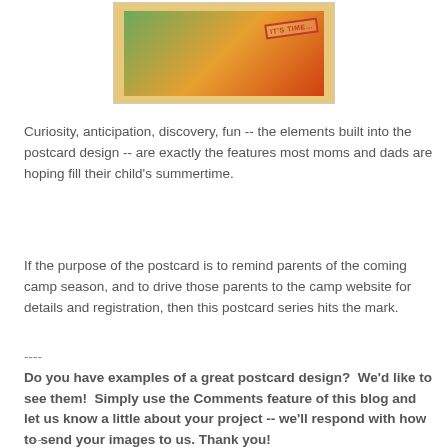[Figure (photo): A postcard design showing children with an 'IT'S TIME' stamp graphic, with colorful background.]
Curiosity, anticipation, discovery, fun -- the elements built into the postcard design -- are exactly the features most moms and dads are hoping fill their child's summertime.
If the purpose of the postcard is to remind parents of the coming camp season, and to drive those parents to the camp website for details and registration, then this postcard series hits the mark.
----
Do you have examples of a great postcard design?  We'd like to see them!  Simply use the Comments feature of this blog and let us know a little about your project -- we'll respond with how to send your images to us. Thank you!
----